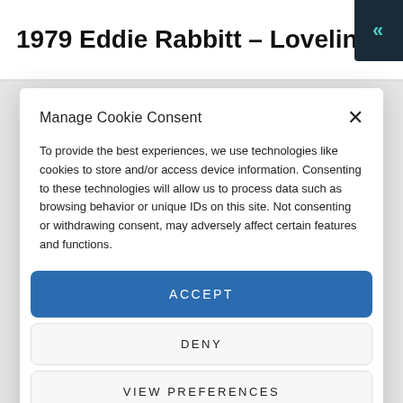1979 Eddie Rabbitt – Loveline
Manage Cookie Consent
To provide the best experiences, we use technologies like cookies to store and/or access device information. Consenting to these technologies will allow us to process data such as browsing behavior or unique IDs on this site. Not consenting or withdrawing consent, may adversely affect certain features and functions.
ACCEPT
DENY
VIEW PREFERENCES
Cookie Policy   Privacy Policy   Privacy Policy